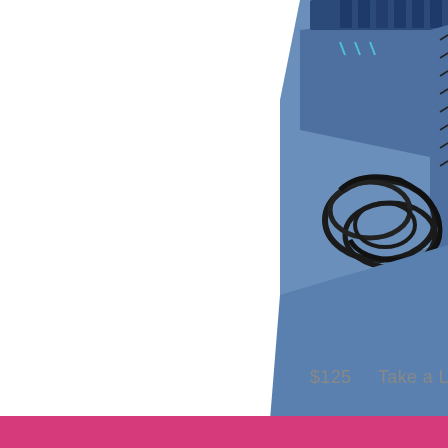[Figure (photo): A blue denim-style knitting needle case/organizer opened up, showing multiple interchangeable circular knitting needle tips stored in slots along the top flap, and black flexible cables coiled in the center, with black end caps/connectors arranged along the right side. The case appears to be a ChiaoGoo or similar brand needle set.]
$125    Take a Lo